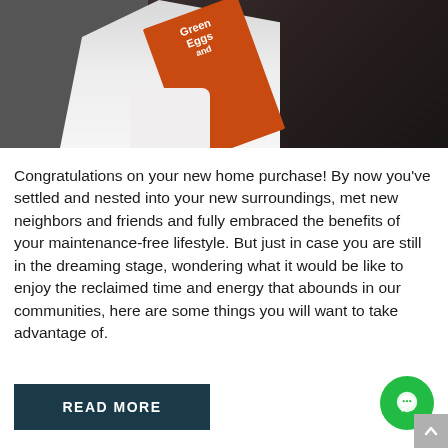[Figure (photo): Person in white shirt holding an orange 'Green Eggs and Ham' book, seated against dark leather chair background]
Congratulations on your new home purchase! By now you've settled and nested into your new surroundings, met new neighbors and friends and fully embraced the benefits of your maintenance-free lifestyle. But just in case you are still in the dreaming stage, wondering what it would be like to enjoy the reclaimed time and energy that abounds in our communities, here are some things you will want to take advantage of.
READ MORE